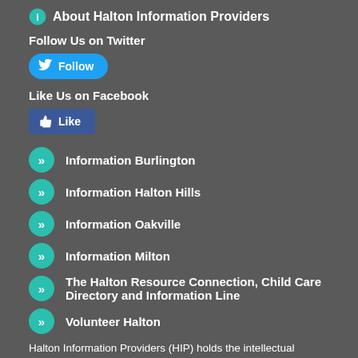About Halton Information Providers
Follow Us on Twitter
[Figure (other): Twitter Follow button (blue rounded pill with bird icon)]
Like Us on Facebook
[Figure (other): Facebook Like button (blue rectangle with thumbs up icon)]
Information Burlington
Information Halton Hills
Information Oakville
Information Milton
The Halton Resource Connection, Child Care Directory and Information Line
Volunteer Halton
Halton Information Providers (HIP) holds the intellectual property rights for the information on this site. You must credit HIP as the source on each copy of any information that originates from this site. If you have questions about linking to the website or the Halton Community Services Directory, or using information from